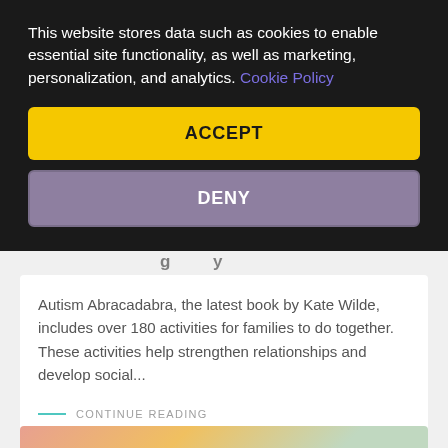This website stores data such as cookies to enable essential site functionality, as well as marketing, personalization, and analytics. Cookie Policy
ACCEPT
DENY
Autism Abracadabra, the latest book by Kate Wilde, includes over 180 activities for families to do together. These activities help strengthen relationships and develop social...
CONTINUE READING
[Figure (illustration): Partial view of a colorful illustrated book cover with pink, yellow, and teal abstract shapes]